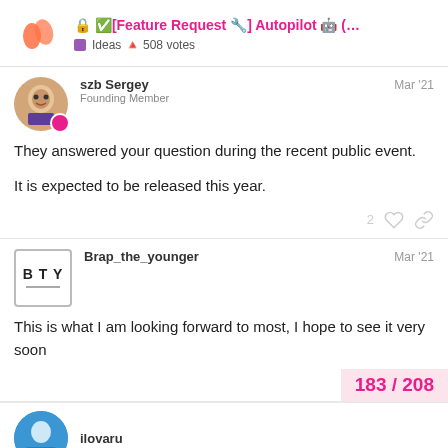🔒 ✅[Feature Request 🔧] Autopilot 🤖 (... Ideas 🔺 508 votes
szb Sergey Founding Member — Mar '21
They answered your question during the recent public event.
It is expected to be released this year.
Brap_the_younger — Mar '21
This is what I am looking forward to most, I hope to see it very soon
183 / 208